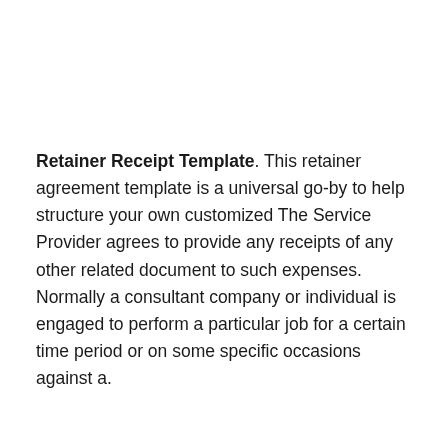Retainer Receipt Template. This retainer agreement template is a universal go-by to help structure your own customized The Service Provider agrees to provide any receipts of any other related document to such expenses. Normally a consultant company or individual is engaged to perform a particular job for a certain time period or on some specific occasions against a.